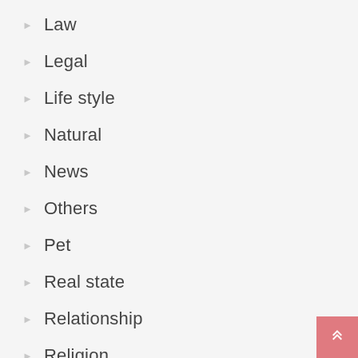Law
Legal
Life style
Natural
News
Others
Pet
Real state
Relationship
Religion
Security
Social
Social media (partial)